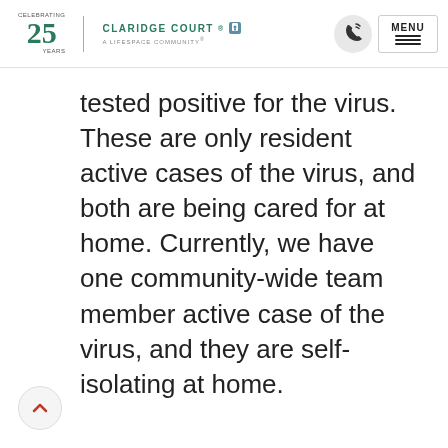CELEBRATING 25 YEARS | CLARIDGE COURT® A LIFESPACE COMMUNITY®
tested positive for the virus. These are only resident active cases of the virus, and both are being cared for at home. Currently, we have one community-wide team member active case of the virus, and they are self-isolating at home.